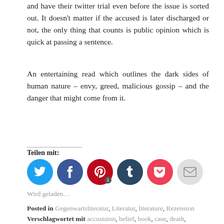and have their twitter trial even before the issue is sorted out. It doesn't matter if the accused is later discharged or not, the only thing that counts is public opinion which is quick at passing a sentence.
An entertaining read which outlines the dark sides of human nature – envy, greed, malicious gossip – and the danger that might come from it.
Teilen mit:
[Figure (other): Social sharing buttons: Twitter (blue), Facebook (blue), Pinterest (red, with badge '1'), Tumblr (dark blue), Pocket (red), Email (gray)]
Wird geladen…
Posted in Gegenwartsliteratur, Literatur, literature, Rezension
Verschlagwortet mit accustaion, belief, book, case, death, Germany,